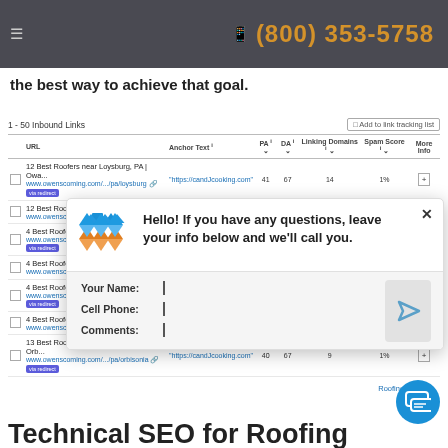(800) 353-5758
Earning links naturally remains the safest and most effective strategy, and writing good content is the best way to achieve that goal.
| URL | Anchor Text | PA | DA | Linking Domains | Spam Score | More Info |
| --- | --- | --- | --- | --- | --- | --- |
| 12 Best Roofers near Loysburg, PA | Owa...
www.owenscoming.com/...pa/loysburg [via redirect] | "https://candJcooking.com" | 41 | 67 | 14 | 1% | + |
| 12 Best Roofers near Loysburg, R...
www.owenscoming.com/...za/loy |  |  |  |  |  |
| 4 Best Roofers near Shady Grove...
www.owenscorning.com/...shady... [via redirect] |  |  |  |  |  |
| 4 Best Roofers near Shady Grove...
www.owenscorning.com/...shady-grove [?] |  |  |  |  |  |
| 4 Best Roofers near Biglerville, P...
www.owenscorning.com/.../bigle... [via redirect] |  |  |  |  |  |
| 4 Best Roofers near Biglerville, P...
www.owenscoming.com/.../bigl... |  |  |  |  |  |
| 13 Best Roofers near Orbisonia, PA | Orb...
www.owenscoming.com/.../pa/orbisonia [?] | "https://candJcooking.com" | 40 | 67 | 9 | 1% | + |
[Figure (screenshot): Chat popup with logo, greeting message, and contact form fields (Your Name, Cell Phone, Comments)]
Roofing + WEB...
Technical SEO for Roofing